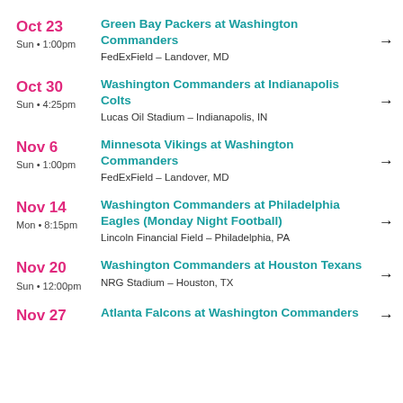Oct 23 | Sun • 1:00pm | Green Bay Packers at Washington Commanders | FedExField – Landover, MD
Oct 30 | Sun • 4:25pm | Washington Commanders at Indianapolis Colts | Lucas Oil Stadium – Indianapolis, IN
Nov 6 | Sun • 1:00pm | Minnesota Vikings at Washington Commanders | FedExField – Landover, MD
Nov 14 | Mon • 8:15pm | Washington Commanders at Philadelphia Eagles (Monday Night Football) | Lincoln Financial Field – Philadelphia, PA
Nov 20 | Sun • 12:00pm | Washington Commanders at Houston Texans | NRG Stadium – Houston, TX
Nov 27 | Atlanta Falcons at Washington Commanders